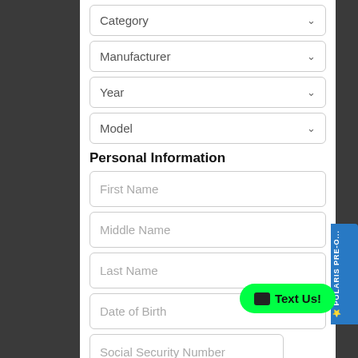[Figure (screenshot): Web form with dropdown fields (Category, Manufacturer, Year, Model) and personal information input fields (First Name, Middle Name, Last Name, Date of Birth, Social Security Number, Home Phone). A Polaris Pre-Owned tab appears on the right side and a green 'Text Us!' chat button overlaps the lower right.]
Personal Information